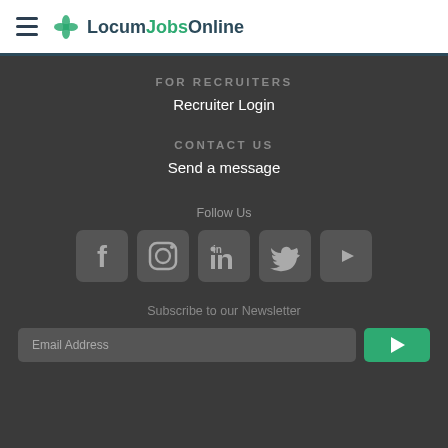LocumJobsOnline
FOR RECRUITERS
Recruiter Login
CONTACT US
Send a message
Follow Us
[Figure (other): Social media icons: Facebook, Instagram, LinkedIn, Twitter, YouTube]
Subscribe to our Newsletter
Email Address input field and Subscribe button